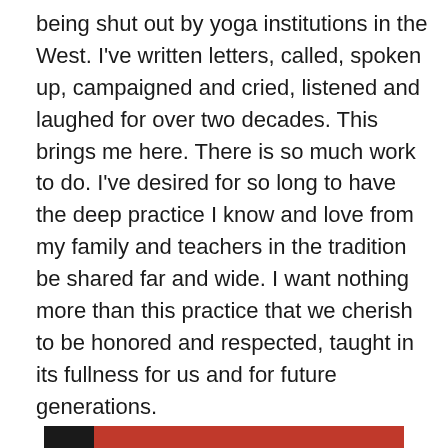being shut out by yoga institutions in the West. I've written letters, called, spoken up, campaigned and cried, listened and laughed for over two decades. This brings me here. There is so much work to do. I've desired for so long to have the deep practice I know and love from my family and teachers in the tradition be shared far and wide. I want nothing more than this practice that we cherish to be honored and respected, taught in its fullness for us and for future generations.

And I'm still here.